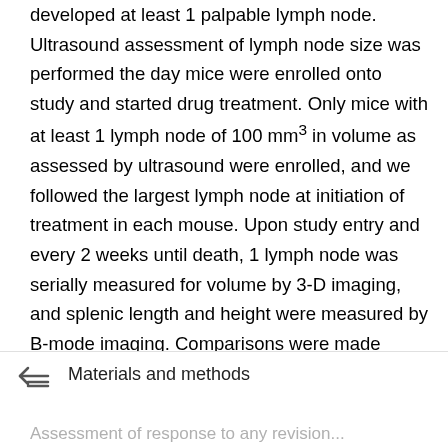developed at least 1 palpable lymph node. Ultrasound assessment of lymph node size was performed the day mice were enrolled onto study and started drug treatment. Only mice with at least 1 lymph node of 100 mm³ in volume as assessed by ultrasound were enrolled, and we followed the largest lymph node at initiation of treatment in each mouse. Upon study entry and every 2 weeks until death, 1 lymph node was serially measured for volume by 3-D imaging, and splenic length and height were measured by B-mode imaging. Comparisons were made between treated and untreated animals by 2-sided t test. We compared actual size of spleen and lymph nodes by caliper measurements to ultrasound measurements at death to validate measurements. All data analysis and ultrasound measurements were blinded as to treatment arm.
Materials and methods
Assessment of response to any revision...